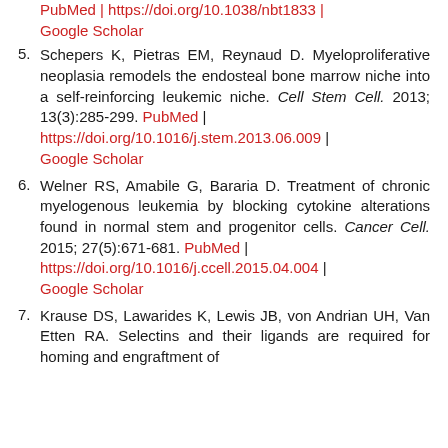[top of page] PubMed | https://doi.org/10.1038/nbt1833 | Google Scholar
5. Schepers K, Pietras EM, Reynaud D. Myeloproliferative neoplasia remodels the endosteal bone marrow niche into a self-reinforcing leukemic niche. Cell Stem Cell. 2013; 13(3):285-299. PubMed | https://doi.org/10.1016/j.stem.2013.06.009 | Google Scholar
6. Welner RS, Amabile G, Bararia D. Treatment of chronic myelogenous leukemia by blocking cytokine alterations found in normal stem and progenitor cells. Cancer Cell. 2015; 27(5):671-681. PubMed | https://doi.org/10.1016/j.ccell.2015.04.004 | Google Scholar
7. Krause DS, Lawarides K, Lewis JB, von Andrian UH, Van Etten RA. Selectins and their ligands are required for homing and engraftment of